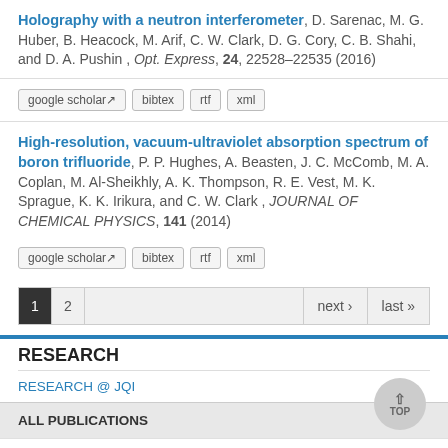Holography with a neutron interferometer, D. Sarenac, M. G. Huber, B. Heacock, M. Arif, C. W. Clark, D. G. Cory, C. B. Shahi, and D. A. Pushin , Opt. Express, 24, 22528–22535 (2016)
google scholar | bibtex | rtf | xml
High-resolution, vacuum-ultraviolet absorption spectrum of boron trifluoride, P. P. Hughes, A. Beasten, J. C. McComb, M. A. Coplan, M. Al-Sheikhly, A. K. Thompson, R. E. Vest, M. K. Sprague, K. K. Irikura, and C. W. Clark , JOURNAL OF CHEMICAL PHYSICS, 141 (2014)
google scholar | bibtex | rtf | xml
1 2 ... next › last »
RESEARCH
RESEARCH @ JQI
ALL PUBLICATIONS
PFC PUBLICATIONS